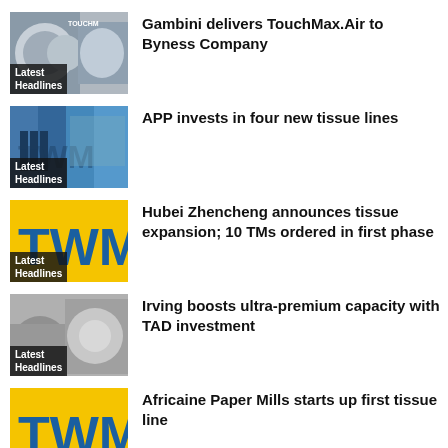Gambini delivers TouchMax.Air to Byness Company
APP invests in four new tissue lines
Hubei Zhencheng announces tissue expansion; 10 TMs ordered in first phase
Irving boosts ultra-premium capacity with TAD investment
Africaine Paper Mills starts up first tissue line